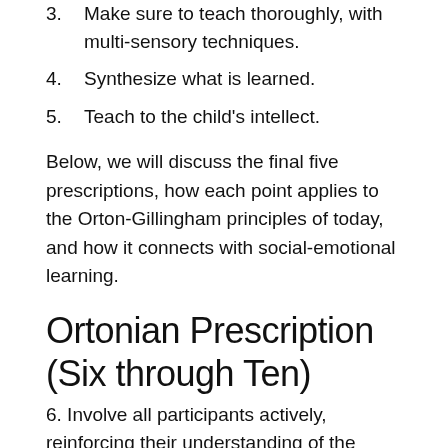3. Make sure to teach thoroughly, with multi-sensory techniques.
4. Synthesize what is learned.
5. Teach to the child's intellect.
Below, we will discuss the final five prescriptions, how each point applies to the Orton-Gillingham principles of today, and how it connects with social-emotional learning.
Ortonian Prescription (Six through Ten)
6. Involve all participants actively, reinforcing their understanding of the problem. Engage pupils, parents, and pedagogies